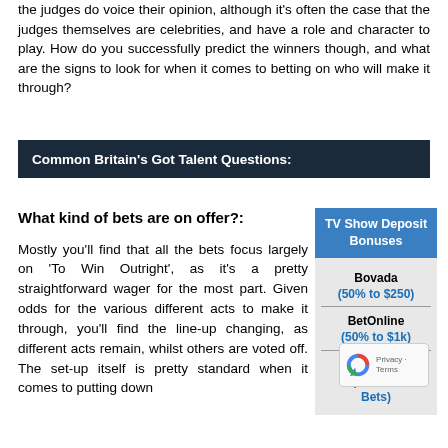the judges do voice their opinion, although it's often the case that the judges themselves are celebrities, and have a role and character to play. How do you successfully predict the winners though, and what are the signs to look for when it comes to betting on who will make it through?
Common Britain's Got Talent Questions:
What kind of bets are on offer?:
Mostly you'll find that all the bets focus largely on 'To Win Outright', as it's a pretty straightforward wager for the most part. Given odds for the various different acts to make it through, you'll find the line-up changing, as different acts remain, whilst others are voted off. The set-up itself is pretty standard when it comes to putting down
[Figure (infographic): Sidebar: TV Show Deposit Bonuses listing Bovada (50% to $250), BetOnline (50% to $1k), and Intertops (Various Bets) with a reCAPTCHA overlay partially covering the sidebar.]